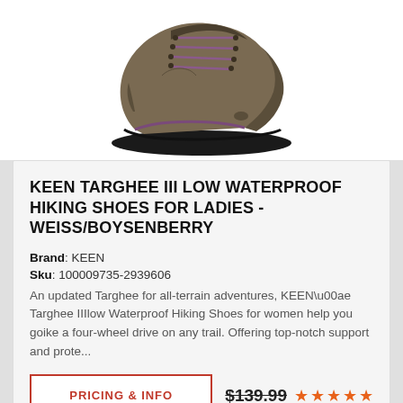[Figure (photo): Keen Targhee III Low Waterproof hiking shoe for women in Weiss/Boysenberry color, shown at angle from above, tan/brown leather upper with purple accents and black rubber sole]
KEEN TARGHEE III LOW WATERPROOF HIKING SHOES FOR LADIES - WEISS/BOYSENBERRY
Brand: KEEN
Sku: 100009735-2939606
An updated Targhee for all-terrain adventures, KEEN\u00ae Targhee IIIlow Waterproof Hiking Shoes for women help you goike a four-wheel drive on any trail. Offering top-notch support and prote...
PRICING & INFO
$139.99 ★★★★★